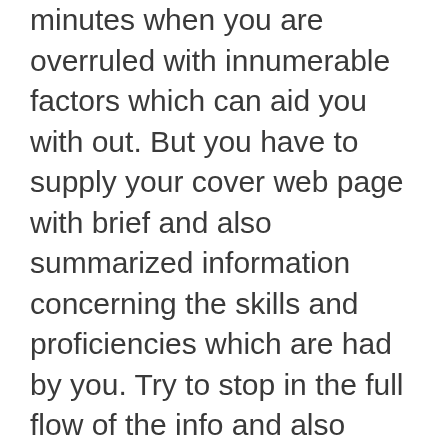minutes when you are overruled with innumerable factors which can aid you with out. But you have to supply your cover web page with brief and also summarized information concerning the skills and proficiencies which are had by you. Try to stop in the full flow of the info and also supply your cover web page with supple details which can offer your function. A long cover web page can reduce the rate of interest of the individual who is busy in reading your cover web page.